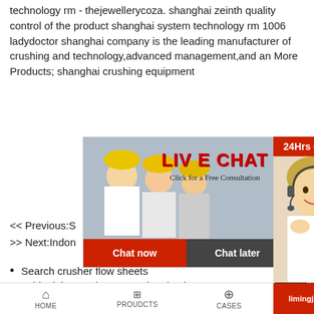technology rm - thejewellerycoza. shanghai zeinth quality control of the product shanghai system technology rm 1006 ladydoctor shanghai company is the leading manufacturer of crushing and technology,advanced management,and an More Products; shanghai crushing equipment
<< Previous:S
>> Next:Indon
[Figure (screenshot): Live chat popup with workers in yellow helmets, LIVE CHAT title in red, 'Click for a Free Consultation' subtitle, and Chat now / Chat later buttons]
[Figure (photo): Right side panel showing '24Hrs Online' in red banner, photo of a woman with headset smiling, then 'Need questions & suggestion?' section with Chat Now button and Enquiry link]
Search crusher flow sheets
gold mining equipments to buy in ghana
crusher design disposal
search results raymond coal mill operating spe
dust explosion systems
HOME   PROUDCTS   CASES   limingjlmofen